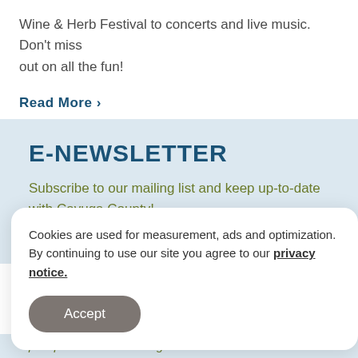Wine & Herb Festival to concerts and live music. Don't miss out on all the fun!
Read More ›
E-NEWSLETTER
Subscribe to our mailing list and keep up-to-date with Cayuga County!
Sign Me Up!
Cookies are used for measurement, ads and optimization. By continuing to use our site you agree to our privacy notice.
Accept
passport to fun in the finger lakes!